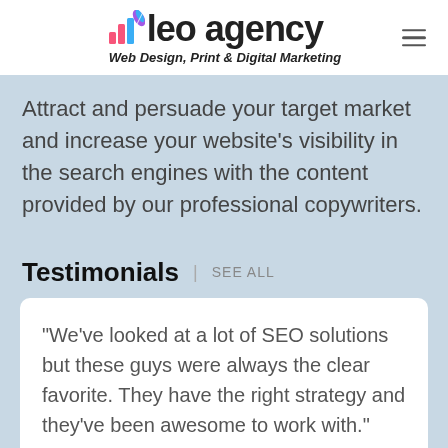[Figure (logo): Leo Agency logo with colorful bar chart dots, feather icon, and tagline 'Web Design, Print & Digital Marketing']
Attract and persuade your target market and increase your website's visibility in the search engines with the content provided by our professional copywriters.
Testimonials | SEE ALL
"We've looked at a lot of SEO solutions but these guys were always the clear favorite. They have the right strategy and they've been awesome to work with."